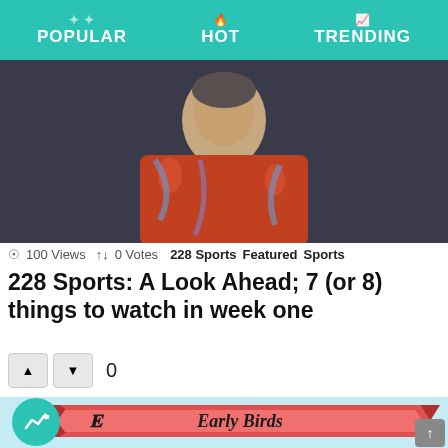POPULAR  HOT  TRENDING
[Figure (photo): Photo of a man in a red floral Hawaiian shirt against a dark background, cropped to show upper body]
100 Views  0 Votes  228 Sports  Featured  Sports
228 Sports: A Look Ahead; 7 (or 8) things to watch in week one
[Figure (illustration): Promotional image with 'Early Birds' banner ribbon and text 'Old School Swapmeet & Car Con...' and 'Welcome CTC Early Birds' on light blue background with trending badge overlay]